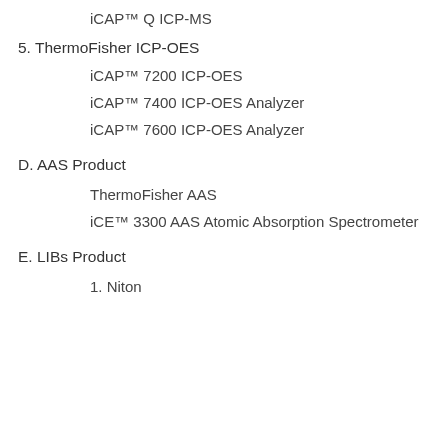iCAP™ Q ICP-MS
5. ThermoFisher ICP-OES
iCAP™ 7200 ICP-OES
iCAP™ 7400 ICP-OES Analyzer
iCAP™ 7600 ICP-OES Analyzer
D. AAS Product
ThermoFisher AAS
iCE™ 3300 AAS Atomic Absorption Spectrometer
E. LIBs Product
1. Niton